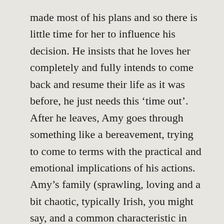made most of his plans and so there is little time for her to influence his decision. He insists that he loves her completely and fully intends to come back and resume their life as it was before, he just needs this ‘time out’. After he leaves, Amy goes through something like a bereavement, trying to come to terms with the practical and emotional implications of his actions. Amy’s family (sprawling, loving and a bit chaotic, typically Irish, you might say, and a common characteristic in Keyes’s work) has challenges of its own – her father has dementia, which puts a strain on the offspring, there are sibling rivalries and each of Amy’s daughters is going through their own turmoil, partly connected and partly unconnected to